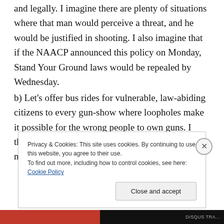and legally. I imagine there are plenty of situations where that man would perceive a threat, and he would be justified in shooting. I also imagine that if the NAACP announced this policy on Monday, Stand Your Ground laws would be repealed by Wednesday.
b) Let's offer bus rides for vulnerable, law-abiding citizens to every gun-show where loopholes make it possible for the wrong people to own guns. I think we can all agree those law abiding citizens need protection, and you could
Privacy & Cookies: This site uses cookies. By continuing to use this website, you agree to their use.
To find out more, including how to control cookies, see here: Cookie Policy
Close and accept